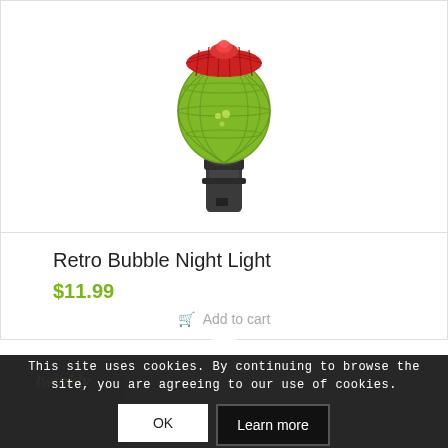[Figure (photo): Retro bubble night light product photo: a decorative light bulb with red top and green/yellow ribbed globe body on a dark grey/black base socket.]
Retro Bubble Night Light
$11.99
Add to cart
This site uses cookies. By continuing to browse the site, you are agreeing to our use of cookies.
[Figure (photo): Dark product image at bottom showing Twinkly brand logo in gold italic text on a dark background.]